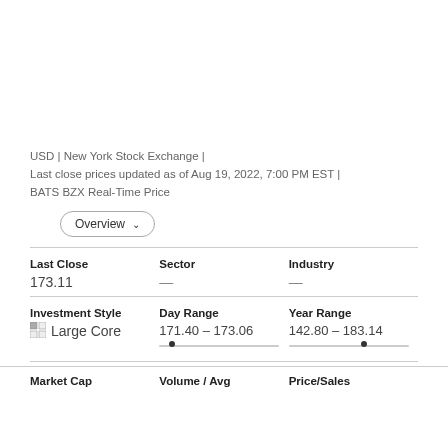USD | New York Stock Exchange |
Last close prices updated as of Aug 19, 2022, 7:00 PM EST |
BATS BZX Real-Time Price
Overview ∨
| Last Close | Sector | Industry |
| --- | --- | --- |
| 173.11 | — | — |
| Investment Style | Day Range | Year Range |
| --- | --- | --- |
| Large Core | 171.40 – 173.06 | 142.80 – 183.14 |
Market Cap    Volume / Avg    Price/Sales